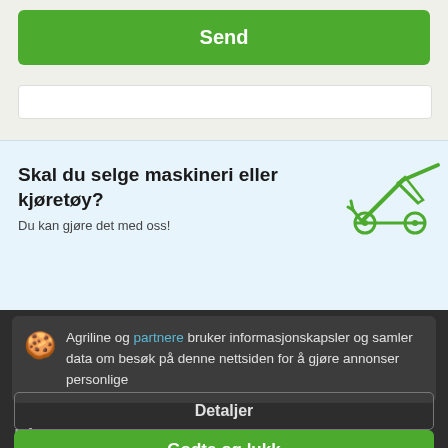Send
Skal du selge maskineri eller kjøretøy?
Du kan gjøre det med oss!
[Figure (illustration): Green line drawing of a small machinery/vehicle icon (like a powered wheelbarrow or small tractor)]
Agriline og partnere bruker informasjonskapsler og samler data om besøk på denne nettsiden for å gjøre annonser personlige
Detaljer
Lig
Godta og lukk
NY POM Augustow Saug-Snøkrapp